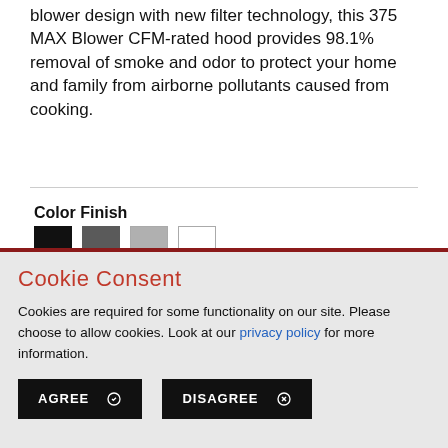blower design with new filter technology, this 375 MAX Blower CFM-rated hood provides 98.1% removal of smoke and odor to protect your home and family from airborne pollutants caused from cooking.
Color Finish
[Figure (other): Four color swatches: black, dark gray, light gray, white]
Cookie Consent
Cookies are required for some functionality on our site. Please choose to allow cookies. Look at our privacy policy for more information.
AGREE | DISAGREE